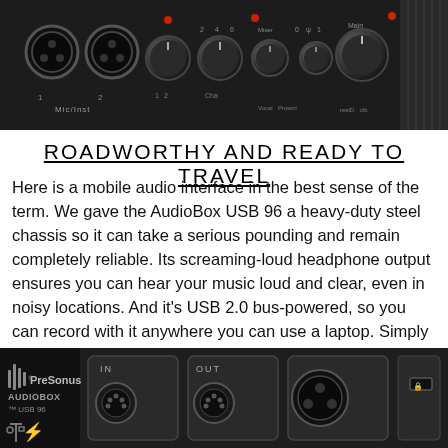[Figure (photo): Top-front view of PreSonus AudioBox USB 96 audio interface showing XLR/TRS combo inputs, gain knobs, and indicator LEDs on a dark chassis]
ROADWORTHY AND READY TO TRAVEL
Here is a mobile audio interface in the best sense of the term. We gave the AudioBox USB 96 a heavy-duty steel chassis so it can take a serious pounding and remain completely reliable. Its screaming-loud headphone output ensures you can hear your music loud and clear, even in noisy locations. And it's USB 2.0 bus-powered, so you can record with it anywhere you can use a laptop. Simply drop it in your laptop bag or slap it on a tabletop.
[Figure (photo): Rear panel of PreSonus AudioBox USB 96 showing MIDI IN/OUT ports, USB port, power connector, and Kensington lock slot]